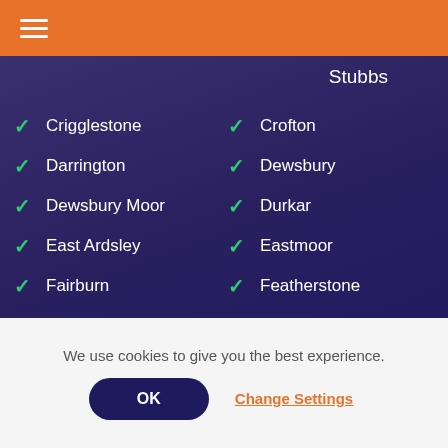[Figure (other): Orange header bar with hamburger menu icon (three white horizontal lines)]
Stubbs
✓ Crigglestone
✓ Crofton
✓ Darrington
✓ Dewsbury
✓ Dewsbury Moor
✓ Durkar
✓ East Ardsley
✓ Eastmoor
✓ Fairburn
✓ Featherstone
✓ Fitzwilliam
✓ Flockton
✓ Gawthorpe
✓ Glasshoughton
We use cookies to give you the best experience.
OK
Change Settings